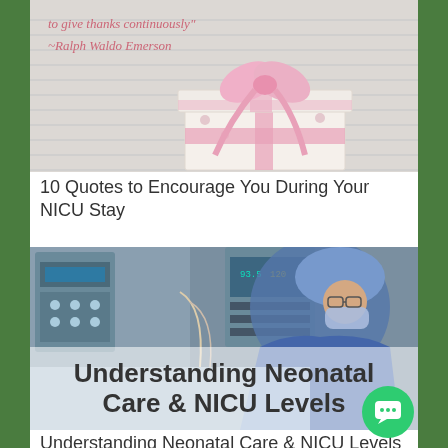[Figure (photo): Decorative gift box with pink ribbon and bow, with italic text overlay reading 'to give thanks continuously? ~Ralph Waldo Emerson']
10 Quotes to Encourage You During Your NICU Stay
[Figure (photo): Medical professional in blue scrubs, surgical mask, and hair covering working in a NICU setting with medical equipment. Large bold text overlay reads 'Understanding Neonatal Care & NICU Levels']
Understanding Neonatal Care & NICU Levels